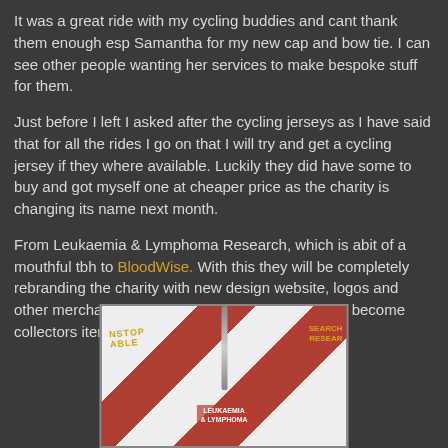It was a great ride with my cycling buddies and cant thank them enough esp Samantha for my new cap and bow tie. I can see other people wanting her services to make bespoke stuff for them.
Just before I left I asked after the cycling jerseys as I have said that for all the rides I go on that I will try and get a cycling jersey if they where available. Luckily they did have some to buy and got myself one at cheaper price as the charity is changing its name next month.
From Leukaemia & Lymphoma Research, which is abit of a mouthful tbh to BloodWise. With this they will be completely rebranding the charity with new design website, logos and other merchandise. So these cycling jerseys could become collectors items in the future :D
[Figure (photo): A red and white cycling jersey with Leukaemia & Lymphoma Research branding, showing a zipper at the top and the charity name at the bottom.]